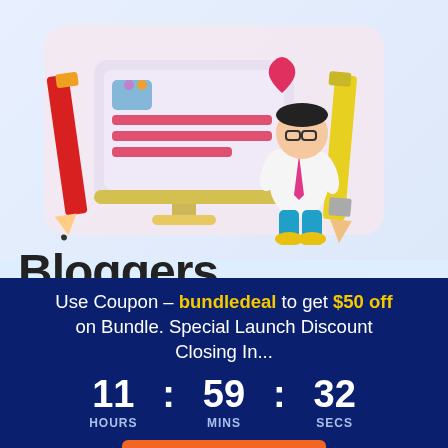[Figure (illustration): 3D illustration of a cartoon blogger character leaning on a large pencil next to a monitor with a heart icon, and a red pencil on the left. Pink/light blue background.]
Bloggers
Use Coupon - bundledeal to get $50 off on Bundle. Special Launch Discount Closing In...
11 : 59 : 32 HOURS MINS SECS
Buy Now